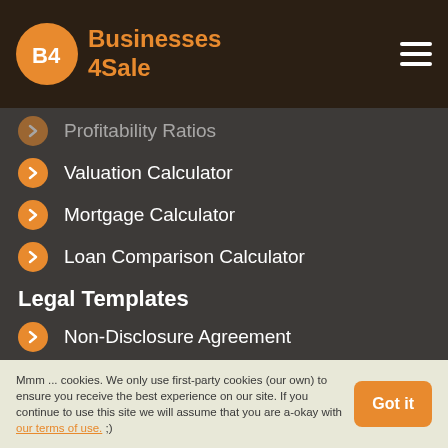Businesses 4Sale
Profitability Ratios
Valuation Calculator
Mortgage Calculator
Loan Comparison Calculator
Other/More
Legal Templates
Non-Disclosure Agreement
Memorandum of Understanding
Letter of Intent
Mmm ... cookies. We only use first-party cookies (our own) to ensure you receive the best experience on our site. If you continue to use this site we will assume that you are a-okay with our terms of use. ;)